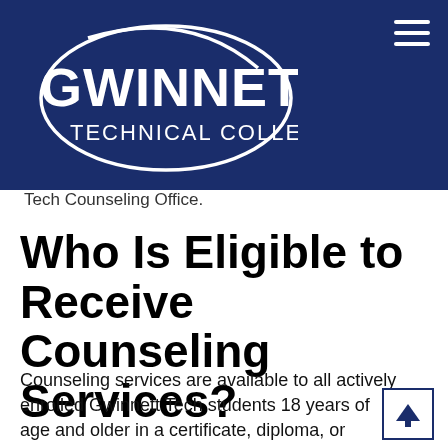[Figure (logo): Gwinnett Technical College logo — white oval outline with 'GWINNETT' in large white bold letters and 'TECHNICAL COLLEGE' below, on a dark navy blue background header bar. A hamburger menu icon (three white horizontal lines) appears in the top right corner.]
Tech Counseling Office.
Who Is Eligible to Receive Counseling Services?
Counseling services are available to all actively enrolled Gwinnett Tech students 18 years of age and older in a certificate, diploma, or degree program.